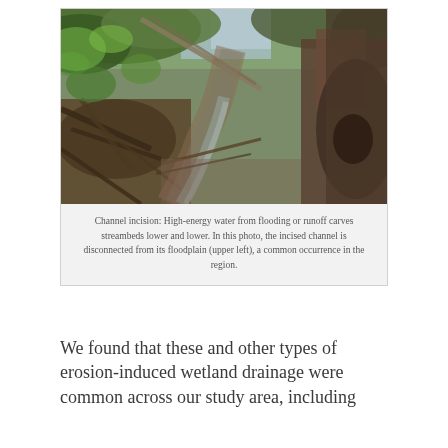[Figure (photo): Photograph of a channel incision in a riparian area showing an eroded streambed running between exposed root masses, fallen trees, and dense vegetation. The incised channel is disconnected from its floodplain visible in the upper left.]
Channel incision: High-energy water from flooding or runoff carves streambeds lower and lower. In this photo, the incised channel is disconnected from its floodplain (upper left), a common occurrence in the region.
We found that these and other types of erosion-induced wetland drainage were common across our study area, including